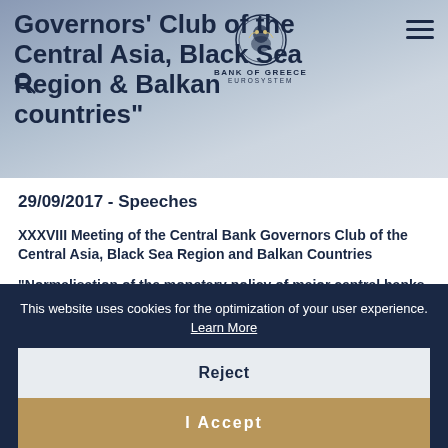Governors' Club of the Central Asia, Black Sea Region & Balkan countries"
[Figure (logo): Bank of Greece Eurosystem logo — circular emblem with text BANK OF GREECE and EUROSYSTEM below]
29/09/2017 - Speeches
XXXVIII Meeting of the Central Bank Governors Club of the Central Asia, Black Sea Region and Balkan Countries
“Normalisation of the monetary policy of major central banks and possible implications for the Club members’ economies: the case of Greece”
This website uses cookies for the optimization of your user experience. Learn More
Reject
I Accept